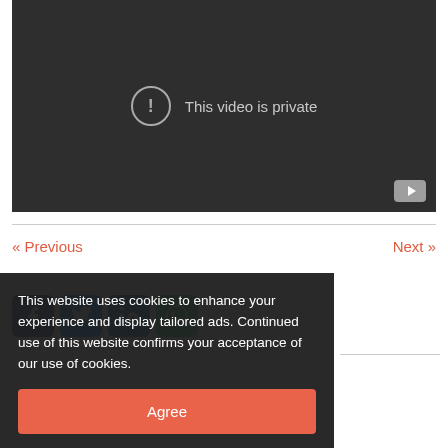[Figure (screenshot): Dark video player showing 'This video is private' message with exclamation icon and YouTube button in bottom right]
« Previous
Next »
[Figure (other): Social share buttons: Facebook, Twitter, LinkedIn, WhatsApp]
This website uses cookies to enhance your experience and display tailored ads. Continued use of this website confirms your acceptance of our use of cookies.
Agree